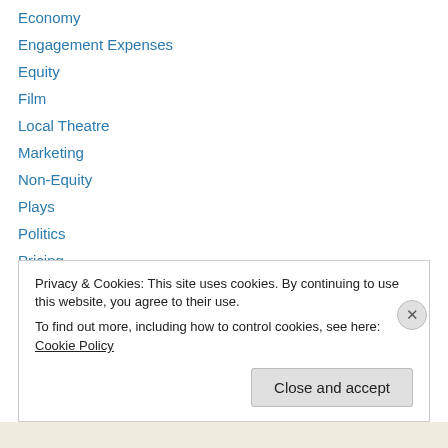Economy
Engagement Expenses
Equity
Film
Local Theatre
Marketing
Non-Equity
Plays
Politics
Pricing
Producing
Reviews
Seasonal
Privacy & Cookies: This site uses cookies. By continuing to use this website, you agree to their use.
To find out more, including how to control cookies, see here: Cookie Policy
Close and accept